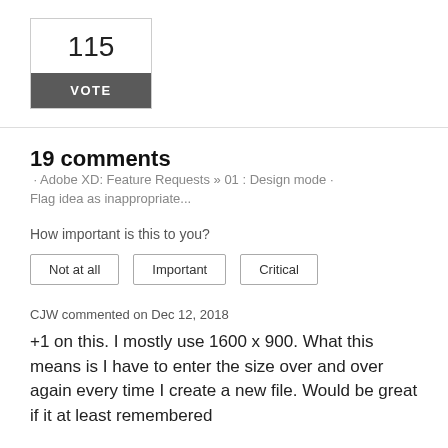115
VOTE
19 comments · Adobe XD: Feature Requests » 01 : Design mode ·
Flag idea as inappropriate...
How important is this to you?
Not at all
Important
Critical
CJW commented on Dec 12, 2018
+1 on this. I mostly use 1600 x 900. What this means is I have to enter the size over and over again every time I create a new file. Would be great if it at least remembered the last custom size for each device.